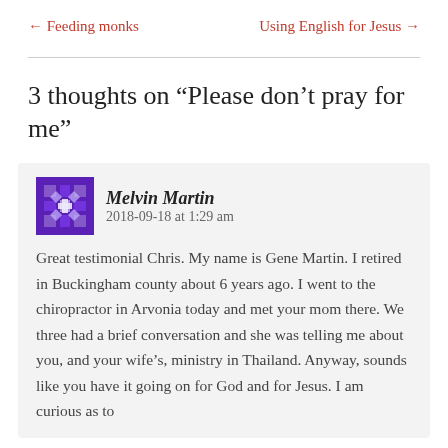← Feeding monks    Using English for Jesus →
3 thoughts on “Please don’t pray for me”
Melvin Martin   2018-09-18 at 1:29 am

Great testimonial Chris. My name is Gene Martin. I retired in Buckingham county about 6 years ago. I went to the chiropractor in Arvonia today and met your mom there. We three had a brief conversation and she was telling me about you, and your wife’s, ministry in Thailand. Anyway, sounds like you have it going on for God and for Jesus. I am curious as to